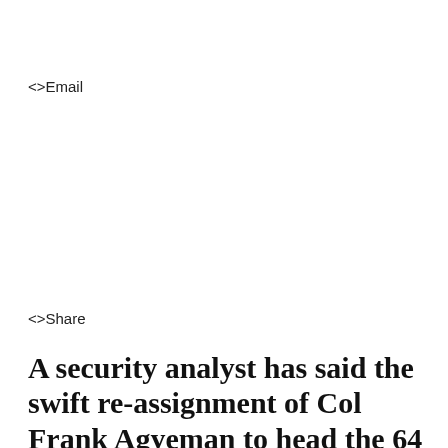<>Email
<>Share
A security analyst has said the swift re-assignment of Col Frank Agyeman to head the 64 Infantry Regiment is shocking but suggests there could be a logical explanation